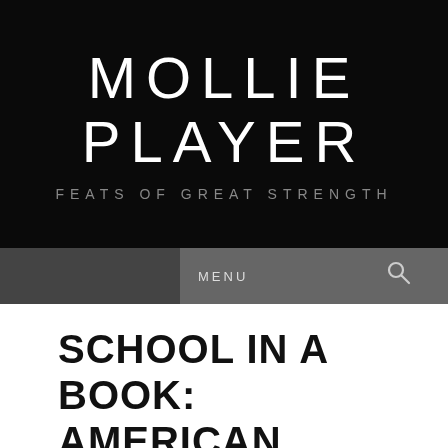MOLLIE PLAYER
FEATS OF GREAT STRENGTH
MENU
SCHOOL IN A BOOK: AMERICAN GOVERNMENT